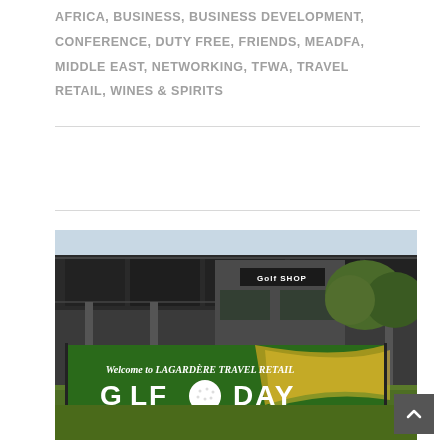AFRICA, BUSINESS, BUSINESS DEVELOPMENT, CONFERENCE, DUTY FREE, FRIENDS, MEADFA, MIDDLE EAST, NETWORKING, TFWA, TRAVEL RETAIL, WINES & SPIRITS
[Figure (photo): Outdoor photo showing a golf club building with a 'Golf Shop' sign, and in the foreground a large green banner reading 'Welcome to LAGARDÈRE TRAVEL RETAIL GOLF DAY' with a golf ball on a tee and the Lagardère logo.]